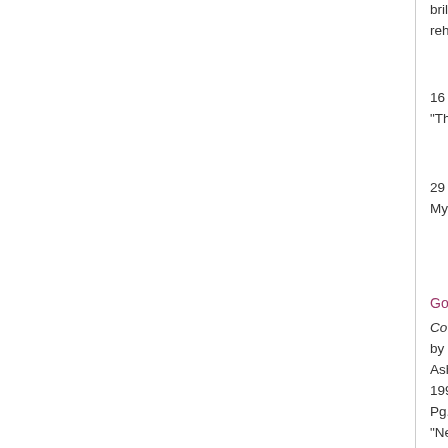brilliantly (as a drunk) in "Drink to Me Only." As a g bottles of scotch in 12 hours, he played it so believ been rehearsing. "Me drink!" he said, using an old when I'm alone or with somebody."
16 September 1970, Dallas (TX) Morning News, s Leonard Levinson, author of "Complete Book of Pi pickles: "They're wonderful alone—or with somebo
29 August 1973, Valparaiso (IN) Vidette-Messenge Weekly Feature," pg. 4, col. 1:
My imbibing is confined to a strictly "social" status. intoxicating liquors unless I'm alone or with someb
Google Books
Cowboy Songs, Jokes, Lingo 'n Lore
by Wayne Erbsen
Asheville, NC: Native Ground Books & Music
1995
Pg. 47:
"Never drink unless you're alone or with somebody
Google Books
Cowboy Cocktails:
Boot Scootin' Beverages and Tasty Vittles from the